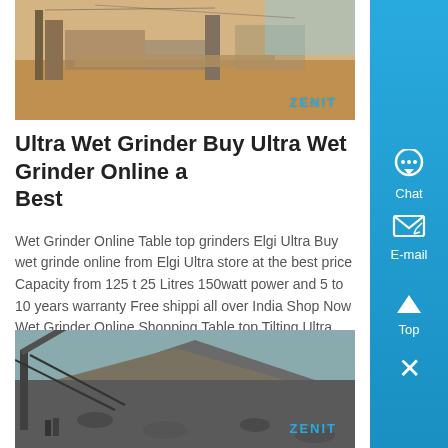[Figure (photo): Outdoor industrial/construction site photo with ZENIT watermark, sandy ground, machinery visible]
Ultra Wet Grinder Buy Ultra Wet Grinder Online a Best
Wet Grinder Online Table top grinders Elgi Ultra Buy wet grinder online from Elgi Ultra store at the best price Capacity from 125 to 25 Litres 150watt power and 5 to 10 years warranty Free shipping all over India Shop Now Wet Grinder Online Shopping Table top Tilting Ultra...
Know More
[Figure (photo): Outdoor industrial quarry/crushing site photo with ZENIT watermark, large pile of stones/gravel with conveyor equipment]
[Figure (illustration): Blue sidebar with Chat, E-mail, Top, and close buttons]